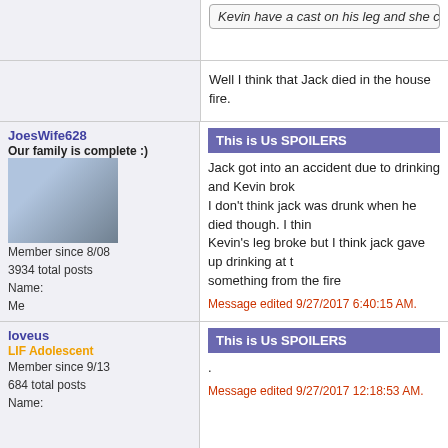Kevin have a cast on his leg and she cried when she sa
Well I think that Jack died in the house fire.
JoesWife628
Our family is complete :)
[Figure (photo): Profile photo of a woman with a baby]
Member since 8/08
3934 total posts
Name:
Me
This is Us SPOILERS
Jack got into an accident due to drinking and Kevin broke I don't think jack was drunk when he died though. I think Kevin's leg broke but I think jack gave up drinking at the something from the fire
Message edited 9/27/2017 6:40:15 AM.
loveus
LIF Adolescent
Member since 9/13
684 total posts
Name:
This is Us SPOILERS
.
Message edited 9/27/2017 12:18:53 AM.